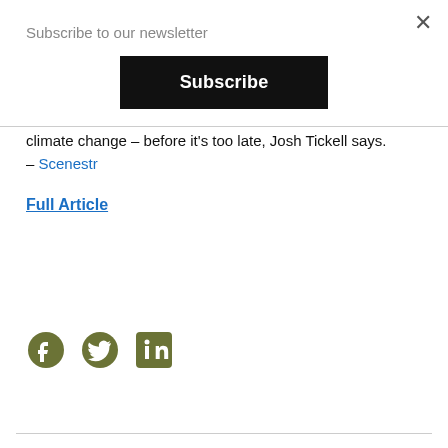Subscribe to our newsletter
Subscribe
climate change – before it’s too late, Josh Tickell says. – Scenestr
Full Article
[Figure (other): Social media icons: Facebook, Twitter, LinkedIn in olive/dark green color]